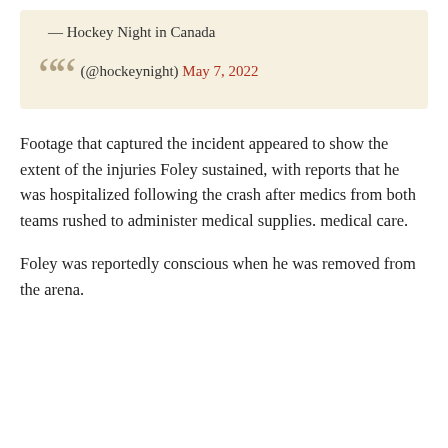— Hockey Night in Canada (@hockeynight) May 7, 2022
Footage that captured the incident appeared to show the extent of the injuries Foley sustained, with reports that he was hospitalized following the crash after medics from both teams rushed to administer medical supplies. medical care.
Foley was reportedly conscious when he was removed from the arena.